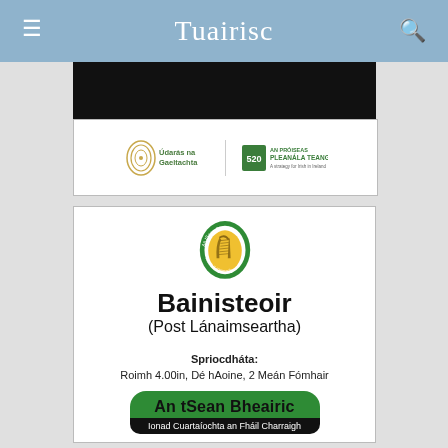Tuairisc
[Figure (logo): Dark banner image at top of content area]
[Figure (logo): Údarás na Gaeltachta logo and An Próiseas Pleanála Teanga 520 logo side by side]
[Figure (logo): An tSean Bheairic circular crest with harp]
Bainisteoir
(Post Lánaimseartha)
Spriocdháta:
Roimh 4.00in, Dé hAoine, 2 Meán Fómhair
[Figure (logo): An tSean Bheairic green rounded button with subtitle Ionad Cuartaíochta an Fháil Charraigh]